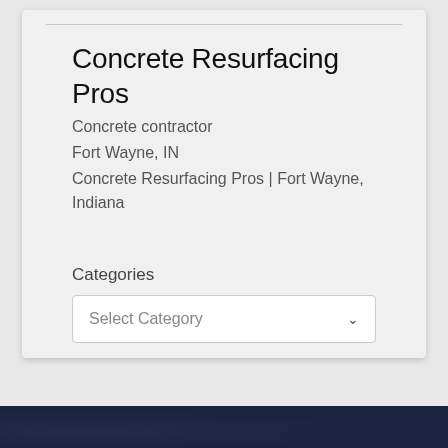Concrete Resurfacing Pros
Concrete contractor
Fort Wayne, IN
Concrete Resurfacing Pros | Fort Wayne, Indiana
Categories
Select Category